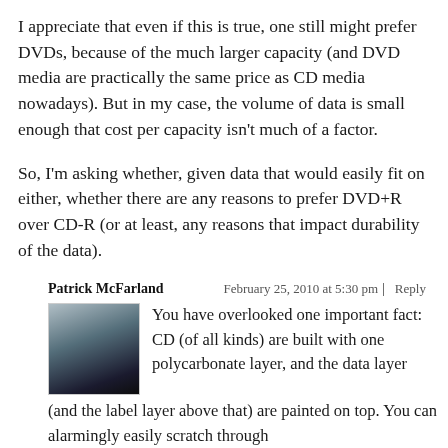I appreciate that even if this is true, one still might prefer DVDs, because of the much larger capacity (and DVD media are practically the same price as CD media nowadays). But in my case, the volume of data is small enough that cost per capacity isn't much of a factor.
So, I'm asking whether, given data that would easily fit on either, whether there are any reasons to prefer DVD+R over CD-R (or at least, any reasons that impact durability of the data).
Patrick McFarland   February 25, 2010 at 5:30 pm | Reply
You have overlooked one important fact: CD (of all kinds) are built with one polycarbonate layer, and the data layer (and the label layer above that) are painted on top. You can alarmingly easily scratch through